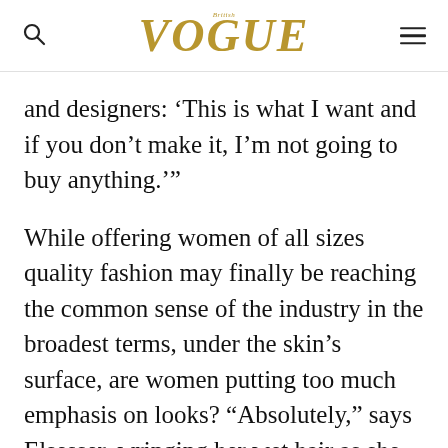VOGUE
and designers: ‘This is what I want and if you don’t make it, I’m not going to buy anything.’”
While offering women of all sizes quality fashion may finally be reaching the common sense of the industry in the broadest terms, under the skin’s surface, are women putting too much emphasis on looks? “Absolutely,” says Elsesser, wringing her wet hair as she exits the pool, having wrapped the cover shot. “This constant hamster wheel of analyzing the way we eat, how we shop and look – it’s exhausting. If, on the outside, we are showing the world it’s never enough, how are our bodies